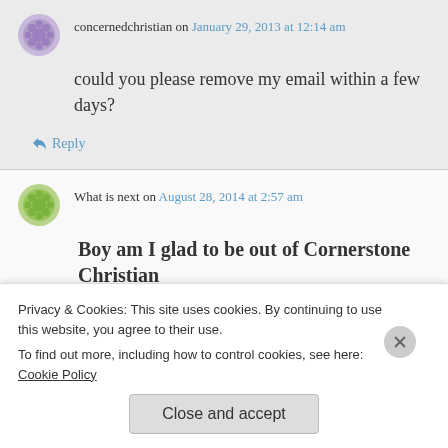concernedchristian on January 29, 2013 at 12:14 am
could you please remove my email within a few days?
Reply
What is next on August 28, 2014 at 2:57 am
Boy am I glad to be out of Cornerstone Christian
Privacy & Cookies: This site uses cookies. By continuing to use this website, you agree to their use. To find out more, including how to control cookies, see here: Cookie Policy
Close and accept